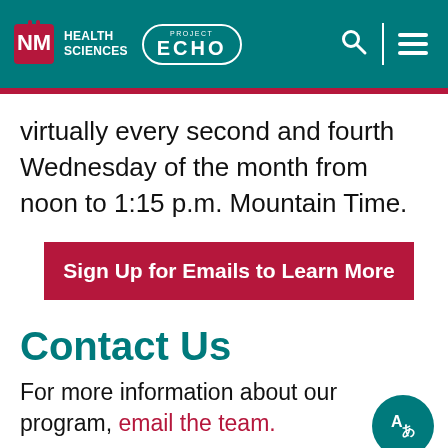UNM Health Sciences | Project ECHO
virtually every second and fourth Wednesday of the month from noon to 1:15 p.m. Mountain Time.
Sign Up for Emails to Learn More
Contact Us
For more information about our program, email the team.